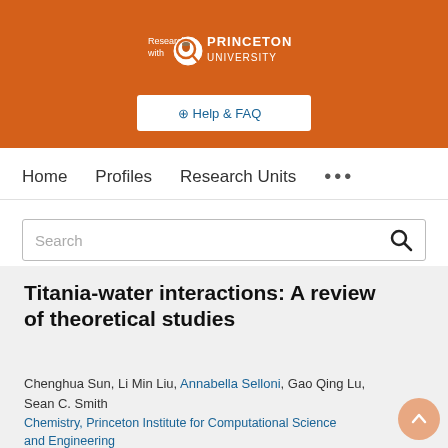[Figure (logo): Princeton University 'Research with' logo on orange background header]
⊕ Help & FAQ
Home   Profiles   Research Units   •••
Search
Titania-water interactions: A review of theoretical studies
Chenghua Sun, Li Min Liu, Annabella Selloni, Gao Qing Lu, Sean C. Smith
Chemistry, Princeton Institute for Computational Science and Engineering